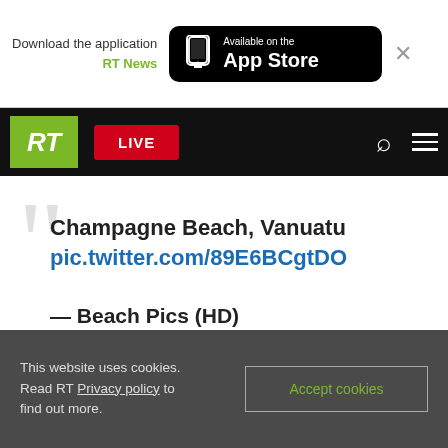[Figure (screenshot): App download banner with 'Download the application RT News' text and 'Available on the App Store' black button with phone icon, plus close X button]
[Figure (screenshot): RT News navigation bar with green RT logo, red LIVE button, search icon, and hamburger menu icon on black background]
Champagne Beach, Vanuatu
pic.twitter.com/89E6BCgtDO

— Beach Pics (HD) (@BeachPicsHD) December 14, 2014
This website uses cookies. Read RT Privacy policy to find out more.